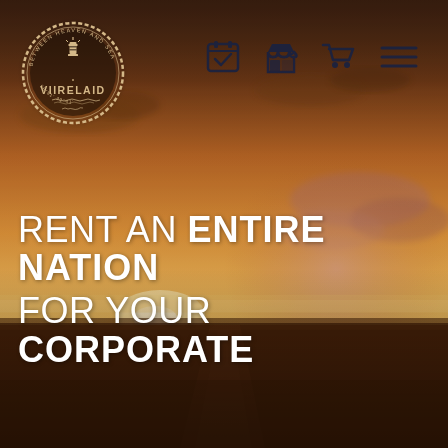[Figure (photo): Sunset landscape over flat terrain with warm orange-golden sky and scattered clouds; road or shoreline visible in lower portion]
[Figure (logo): VIIRELAID circular rope-border logo with lighthouse icon and text 'BETWEEN HEAVEN AND SEA' with coordinates]
[Figure (infographic): Navigation bar icons: calendar/checklist, store/shop, shopping cart, hamburger menu — dark navy blue icons on transparent background]
RENT AN ENTIRE NATION FOR YOUR CORPORATE